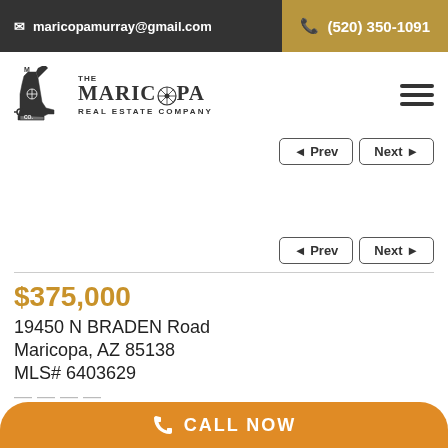maricopamurray@gmail.com  (520) 350-1091
[Figure (logo): The Maricopa Real Estate Company boot logo with text]
[Figure (other): Hamburger menu icon (three horizontal lines)]
[Figure (other): Navigation buttons: Prev and Next (top set)]
[Figure (other): Navigation buttons: Prev and Next (bottom set)]
$375,000
19450 N BRADEN Road
Maricopa, AZ 85138
MLS# 6403629
CALL NOW